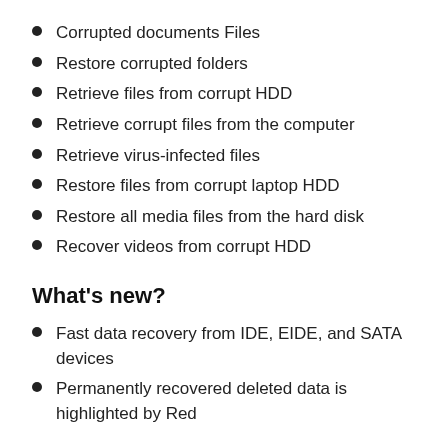Corrupted documents Files
Restore corrupted folders
Retrieve files from corrupt HDD
Retrieve corrupt files from the computer
Retrieve virus-infected files
Restore files from corrupt laptop HDD
Restore all media files from the hard disk
Recover videos from corrupt HDD
What's new?
Fast data recovery from IDE, EIDE, and SATA devices
Permanently recovered deleted data is highlighted by Red